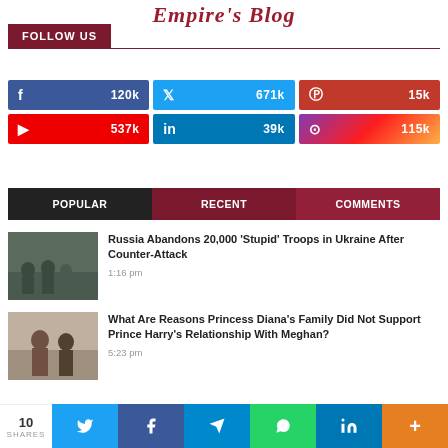Empire's Blog
FOLLOW US
[Figure (infographic): Social media follow buttons: Facebook 120k, Twitter 671k, Pinterest 15k, YouTube 537k, LinkedIn 39k, Instagram 115k]
POPULAR | RECENT | COMMENTS
[Figure (photo): Thumbnail of soldiers in Ukraine]
Russia Abandons 20,000 'Stupid' Troops in Ukraine After Counter-Attack
1:16 pm
[Figure (photo): Thumbnail of Meghan and Harry]
What Are Reasons Princess Diana's Family Did Not Support Prince Harry's Relationship With Meghan?
5:23 pm
10 SHARES — Twitter, Facebook, Telegram, WhatsApp, LinkedIn, More share buttons